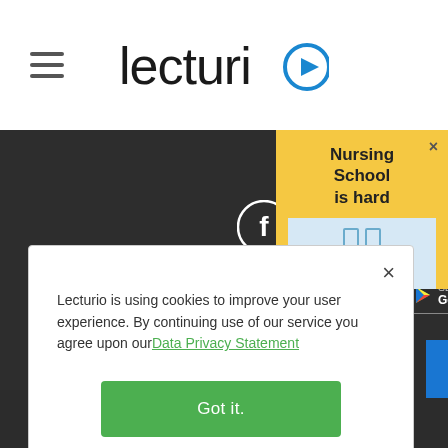[Figure (logo): Lecturio logo with hamburger menu icon on the left and the Lecturio wordmark with play button icon in the center]
Follow Us
[Figure (infographic): Social media icons: Facebook, YouTube, Instagram, LinkedIn on dark background]
[Figure (infographic): App store download buttons: Download on the App Store, GET IT ON Google Play]
[Figure (infographic): Nursing School popup: yellow banner with text 'Nursing School is hard', blue section with pause icon and 'Make it easier' text, close X button]
Lecturio is using cookies to improve your user experience. By continuing use of our service you agree upon ourData Privacy Statement
[Figure (screenshot): Got it. green button for cookie consent]